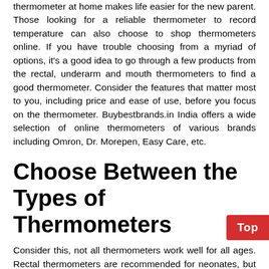thermometer at home makes life easier for the new parent. Those looking for a reliable thermometer to record temperature can also choose to shop thermometers online. If you have trouble choosing from a myriad of options, it's a good idea to go through a few products from the rectal, underarm and mouth thermometers to find a good thermometer. Consider the features that matter most to you, including price and ease of use, before you focus on the thermometer. Buybestbrands.in India offers a wide selection of online thermometers of various brands including Omron, Dr. Morepen, Easy Care, etc.
Choose Between the Types of Thermometers
Consider this, not all thermometers work well for all ages. Rectal thermometers are recommended for neonates, but may be uncomfortable for older children. Oral thermometers are recommended for children over 4 years old. Which thermometer works best for your child? You will have to consider the behavior of your child, for example, if he is uncomfortable, it is unlikely